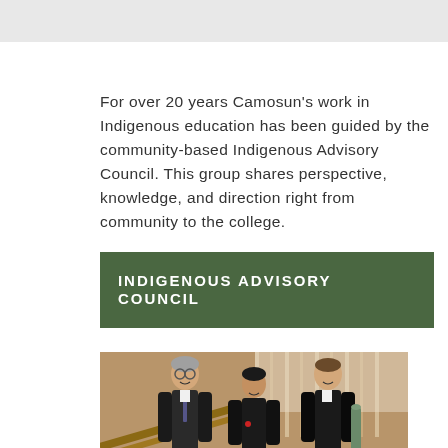For over 20 years Camosun's work in Indigenous education has been guided by the community-based Indigenous Advisory Council. This group shares perspective, knowledge, and direction right from community to the college.
INDIGENOUS ADVISORY COUNCIL
[Figure (photo): Three men standing together indoors, smiling. The man on the left and right are wearing dark suits; the man in the middle is shorter and wearing a dark jacket. One man on the right holds a cylindrical object. Background shows wooden architectural elements and windows.]